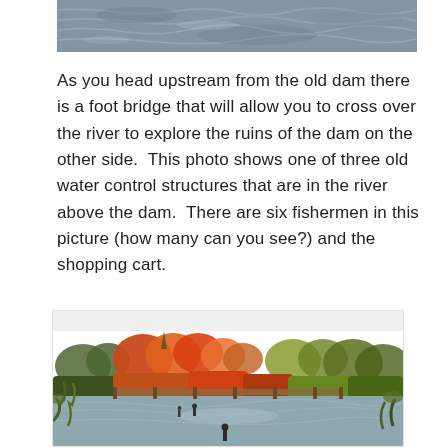[Figure (photo): Top portion of a river or water body with rippling water surface, cropped at top of page.]
As you head upstream from the old dam there is a foot bridge that will allow you to cross over the river to explore the ruins of the dam on the other side.  This photo shows one of three old water control structures that are in the river above the dam.  There are six fishermen in this picture (how many can you see?) and the shopping cart.
[Figure (photo): River scene in autumn showing colorful fall foliage (red, orange, yellow trees) lining both sides of a river. A wooden water control structure/dam spans the river in the middle distance. Several small figures of fishermen are visible wading in the river. One fisherman stands prominently in the foreground center of the river.]